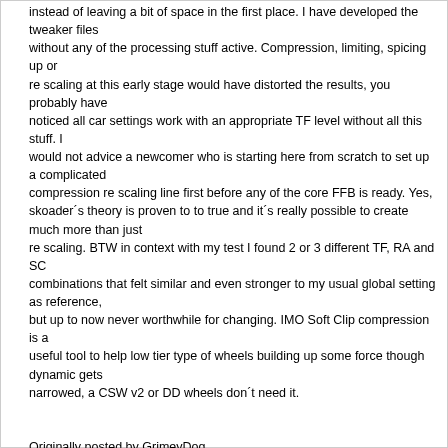instead of leaving a bit of space in the first place. I have developed the tweaker files without any of the processing stuff active. Compression, limiting, spicing up or re scaling at this early stage would have distorted the results, you probably have noticed all car settings work with an appropriate TF level without all this stuff. I would not advice a newcomer who is starting here from scratch to set up a complicated compression re scaling line first before any of the core FFB is ready. Yes, skoader´s theory is proven to to true and it´s really possible to create much more than just re scaling. BTW in context with my test I found 2 or 3 different TF, RA and SC combinations that felt similar and even stronger to my usual global setting as reference, but up to now never worthwhile for changing. IMO Soft Clip compression is a useful tool to help low tier type of wheels building up some force though dynamic gets narrowed, a CSW v2 or DD wheels don´t need it.
Originally posted by GrimeyDog
Yes I Agree that the Proof of invisible Head Room is the Game Changer!!!

Another thing that Has always been My un-answered question is What is 100/1.00 Truly = to??? 50% Power or is 200/2.00 = to 100% power... But it is Now Clearly understood that 100/1.00 = 100% output and anything above 101+ is Tapping into the invisible Head Room/Over Drive.

I Never Doubted that the Math Formulas worked... My Doubts were were based on accepting that there was only 1 Math formula that could be used...Math is a Very versitile Tool and is only Governed by how a individual views and Chooses to go about solving the equation...Ex lets say the Relative system is Progressive 1+1+1+1=4 ...2+2=4... 1+2+1=4 ... Lets say the Full/Soft Clip is Compression/Reducing 5 - 1=4 ...6 -2 =4 ....10 -1 -1 -1 -1-2=4 its all about how the tweeker chooses to use the system to Balance the FFB forces...IMO Yes Skoder Strikes again in Even a Bigger way than Most Noticed... He Has Sucessfully proven what has always been My theory that